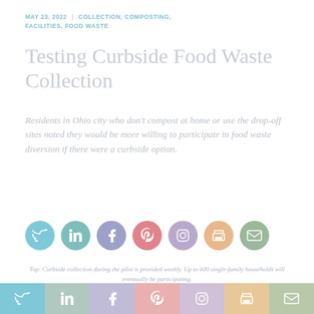MAY 23, 2022 | COLLECTION, COMPOSTING, FACILITIES, FOOD WASTE
Testing Curbside Food Waste Collection
Residents in Ohio city who don't compost at home or use the drop-off sites noted they would be more willing to participate in food waste diversion if there were a curbside option.
[Figure (infographic): Row of 7 social media share icons as colored circles: Twitter (blue), LinkedIn (teal), Facebook (purple), Pinterest (pink/red), Instagram (lavender), Print (peach/orange), Email (green)]
Top: Curbside collection during the pilot is provided weekly. Up to 600 single-family households will eventually be participating.
Nora Goldstein
[Figure (infographic): Bottom bar with 7 social share buttons: Twitter, LinkedIn, Facebook, Pinterest, Instagram, Print, Email]